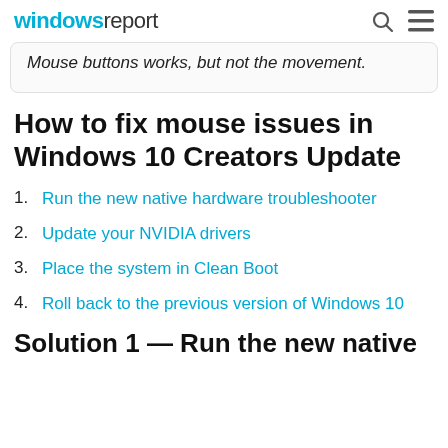windowsreport
Mouse buttons works, but not the movement.
How to fix mouse issues in Windows 10 Creators Update
Run the new native hardware troubleshooter
Update your NVIDIA drivers
Place the system in Clean Boot
Roll back to the previous version of Windows 10
Solution 1 — Run the new native